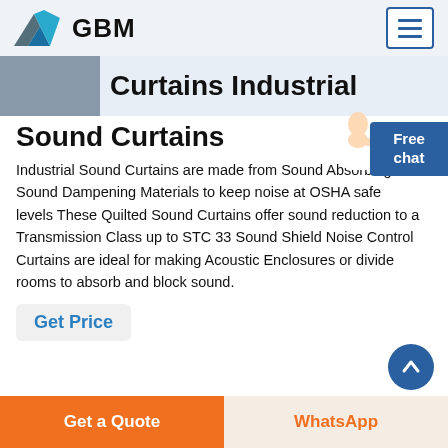GBM
Curtains Industrial Sound Curtains
Industrial Sound Curtains are made from Sound Absorbing and Sound Dampening Materials to keep noise at OSHA safe levels These Quilted Sound Curtains offer sound reduction to a Transmission Class up to STC 33 Sound Shield Noise Control Curtains are ideal for making Acoustic Enclosures or divide rooms to absorb and block sound.
Get Price
Free chat
Get a Quote
WhatsApp